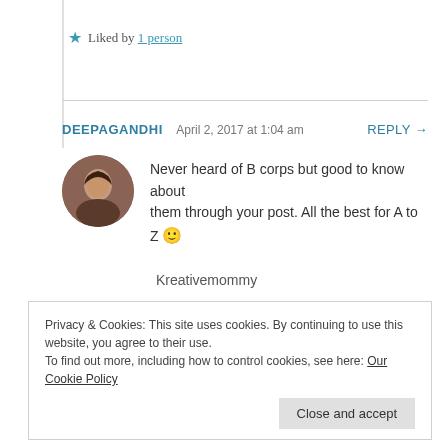★ Liked by 1 person
DEEPAGANDHI   April 2, 2017 at 1:04 am   REPLY →
Never heard of B corps but good to know about them through your post. All the best for A to Z 🙂
Kreativemommy
★ Liked by 1 person
Privacy & Cookies: This site uses cookies. By continuing to use this website, you agree to their use.
To find out more, including how to control cookies, see here: Our Cookie Policy
Close and accept